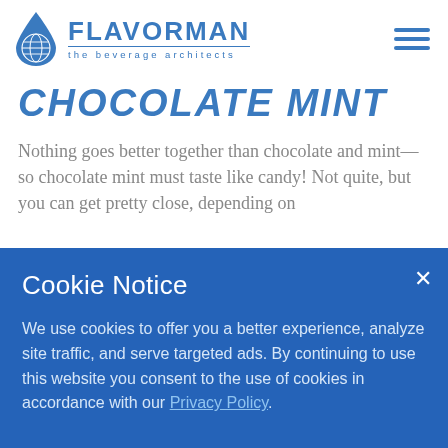[Figure (logo): Flavorman logo with water drop containing globe, text FLAVORMAN and tagline 'the beverage architects']
CHOCOLATE MINT
Nothing goes better together than chocolate and mint—so chocolate mint must taste like candy! Not quite, but you can get pretty close, depending on
Cookie Notice
We use cookies to offer you a better experience, analyze site traffic, and serve targeted ads. By continuing to use this website you consent to the use of cookies in accordance with our Privacy Policy.